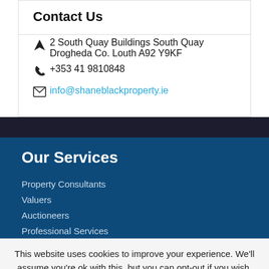Contact Us
2 South Quay Buildings South Quay Drogheda Co. Louth A92 Y9KF
+353 41 9810848
info@shaneblackproperty.ie
Our Services
Property Consultants
Valuers
Auctioneers
Professional Services
Land Consultancy
This website uses cookies to improve your experience. We'll assume you're ok with this, but you can opt-out if you wish.